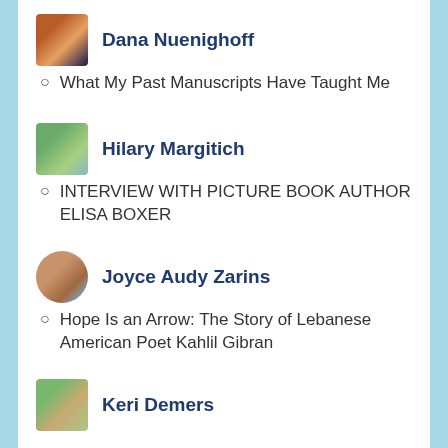Dana Nuenighoff
What My Past Manuscripts Have Taught Me
Hilary Margitich
INTERVIEW WITH PICTURE BOOK AUTHOR ELISA BOXER
Joyce Audy Zarins
Hope Is an Arrow: The Story of Lebanese American Poet Kahlil Gibran
Keri Demers